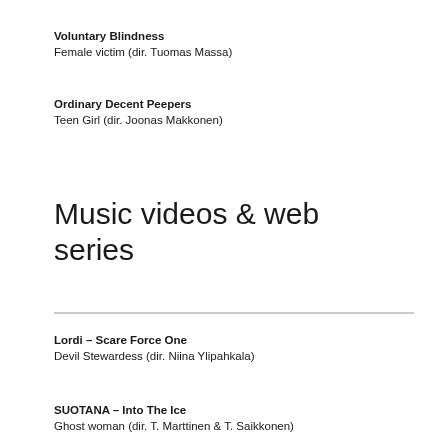Voluntary Blindness
Female victim (dir. Tuomas Massa)
Ordinary Decent Peepers
Teen Girl (dir. Joonas Makkonen)
Music videos & web series
Lordi – Scare Force One
Devil Stewardess (dir. Niina Ylipahkala)
SUOTANA – Into The Ice
Ghost woman (dir. T. Marttinen & T. Saikkonen)